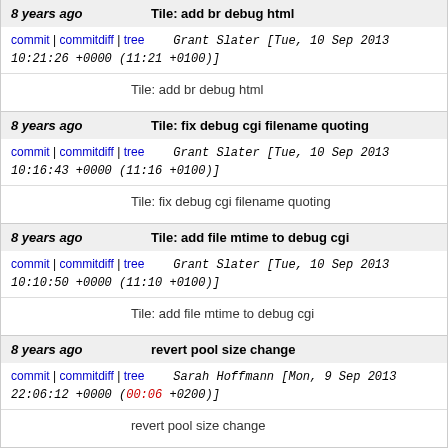8 years ago  Tile: add br debug html
commit | commitdiff | tree  Grant Slater [Tue, 10 Sep 2013 10:21:26 +0000 (11:21 +0100)]
Tile: add br debug html
8 years ago  Tile: fix debug cgi filename quoting
commit | commitdiff | tree  Grant Slater [Tue, 10 Sep 2013 10:16:43 +0000 (11:16 +0100)]
Tile: fix debug cgi filename quoting
8 years ago  Tile: add file mtime to debug cgi
commit | commitdiff | tree  Grant Slater [Tue, 10 Sep 2013 10:10:50 +0000 (11:10 +0100)]
Tile: add file mtime to debug cgi
8 years ago  revert pool size change
commit | commitdiff | tree  Sarah Hoffmann [Mon, 9 Sep 2013 22:06:12 +0000 (00:06 +0200)]
revert pool size change